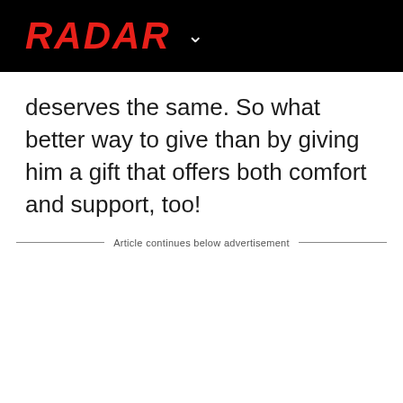RADAR
deserves the same. So what better way to give than by giving him a gift that offers both comfort and support, too!
Article continues below advertisement